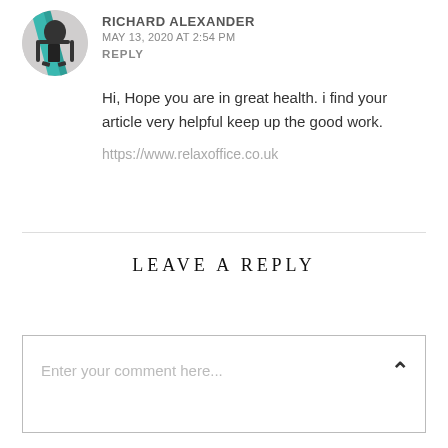RICHARD ALEXANDER
MAY 13, 2020 AT 2:54 PM
REPLY
Hi, Hope you are in great health. i find your article very helpful keep up the good work.
https://www.relaxoffice.co.uk
LEAVE A REPLY
Enter your comment here...